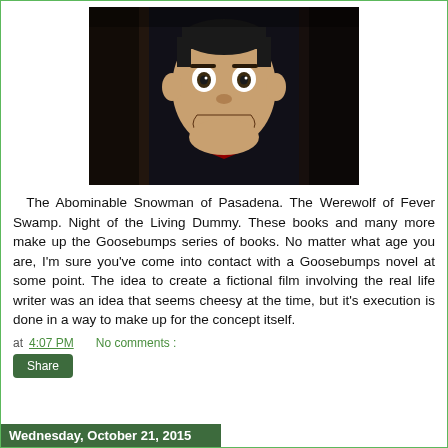[Figure (photo): Dark photograph of a ventriloquist dummy (Slappy from Goosebumps) with a sinister grin, bow tie, and painted face, set against a dark blurred background.]
The Abominable Snowman of Pasadena. The Werewolf of Fever Swamp. Night of the Living Dummy. These books and many more make up the Goosebumps series of books. No matter what age you are, I'm sure you've come into contact with a Goosebumps novel at some point. The idea to create a fictional film involving the real life writer was an idea that seems cheesy at the time, but it's execution is done in a way to make up for the concept itself.
at 4:07 PM   No comments :
Share
Wednesday, October 21, 2015